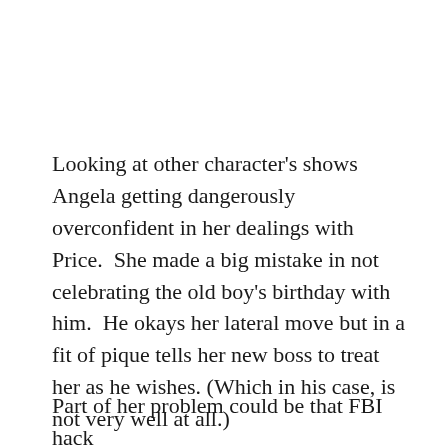Looking at other character's shows Angela getting dangerously overconfident in her dealings with Price.  She made a big mistake in not celebrating the old boy's birthday with him.  He okays her lateral move but in a fit of pique tells her new boss to treat her as he wishes. (Which in his case, is not very well at all.)
Part of her problem could be that FBI hack